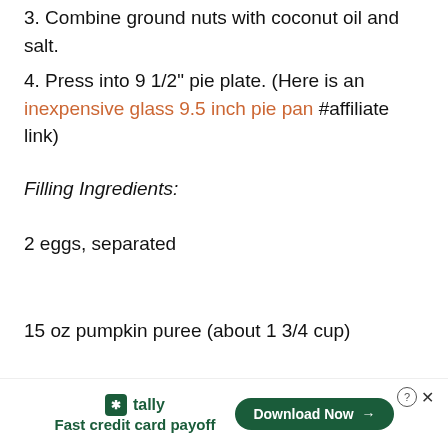3. Combine ground nuts with coconut oil and salt.
4. Press into 9 1/2" pie plate. (Here is an inexpensive glass 9.5 inch pie pan #affiliate link)
Filling Ingredients:
2 eggs, separated
15 oz pumpkin puree (about 1 3/4 cup)
tally Fast credit card payoff | Download Now